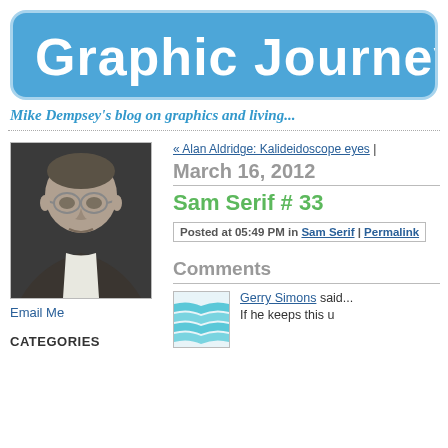Graphic Journey
Mike Dempsey's blog on graphics and living...
[Figure (photo): Black and white portrait photo of an older man with glasses]
Email Me
CATEGORIES
« Alan Aldridge: Kalideidoscope eyes |
March 16, 2012
Sam Serif # 33
Posted at 05:49 PM in Sam Serif | Permalink
Comments
[Figure (illustration): Comment avatar with blue wave/stripe pattern]
Gerry Simons said...
If he keeps this u